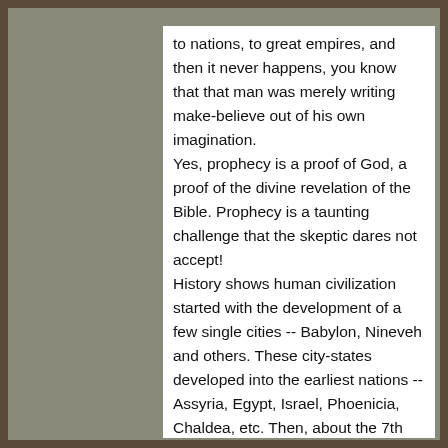to nations, to great empires, and then it never happens, you know that that man was merely writing make-believe out of his own imagination. Yes, prophecy is a proof of God, a proof of the divine revelation of the Bible. Prophecy is a taunting challenge that the skeptic dares not accept! History shows human civilization started with the development of a few single cities -- Babylon, Nineveh and others. These city-states developed into the earliest nations -- Assyria, Egypt, Israel, Phoenicia, Chaldea, etc. Then, about the 7th century B.C., the first empire over nations was formed by the